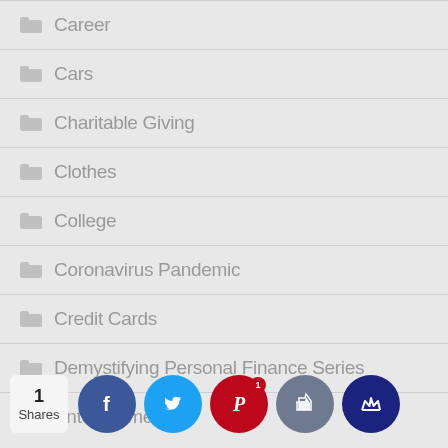Career
Cars
Charitable Giving
Clothes
College
Coronavirus Pandemic
Credit Cards
Demystifying Personal Finance Series
Entertainment
Epic Treks